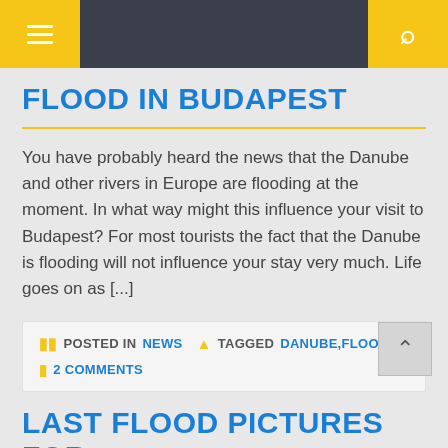≡ [menu] | [search]
FLOOD IN BUDAPEST
You have probably heard the news that the Danube and other rivers in Europe are flooding at the moment. In what way might this influence your visit to Budapest? For most tourists the fact that the Danube is flooding will not influence your stay very much. Life goes on as [...]
POSTED IN NEWS  🏷 TAGGED DANUBE,FLOOD  💬 2 COMMENTS
LAST FLOOD PICTURES FOR